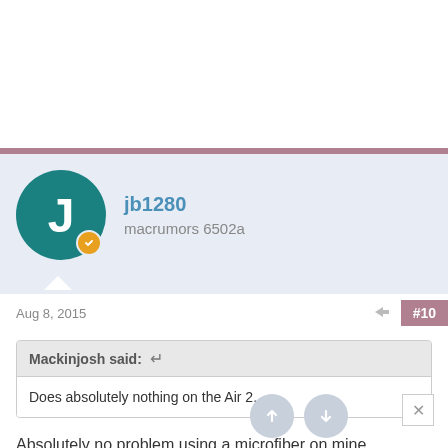[Figure (illustration): White space area at top of page (advertisement or blank content area)]
jb1280
macrumors 6502a
Aug 8, 2015
#10
Mackinjosh said: ↩
Does absolutely nothing on the Air 2.
Absolutely no problem using a microfiber on mine.